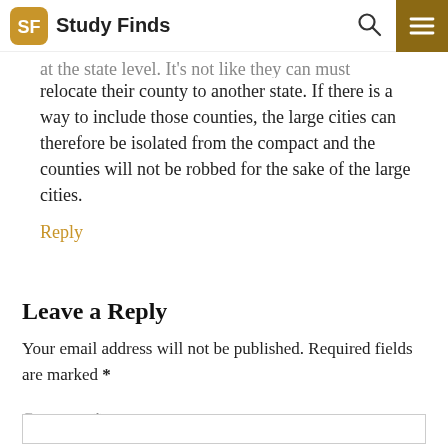Study Finds
at the state level. It's not like they can must relocate their county to another state. If there is a way to include those counties, the large cities can therefore be isolated from the compact and the counties will not be robbed for the sake of the large cities.
Reply
Leave a Reply
Your email address will not be published. Required fields are marked *
Comment *